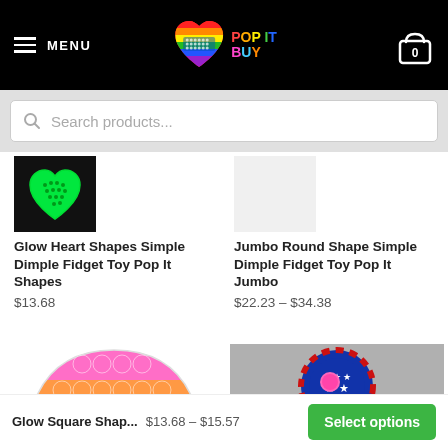MENU | POP IT BUY | Cart 0
Search products...
[Figure (photo): Glow heart shape fidget toy on black background, glowing green]
Glow Heart Shapes Simple Dimple Fidget Toy Pop It Shapes
$13.68
[Figure (photo): Jumbo round shape fidget toy product listing, no image shown]
Jumbo Round Shape Simple Dimple Fidget Toy Pop It Jumbo
$22.23 – $34.38
[Figure (photo): Glow square shape half-circle rainbow pop it fidget toy]
[Figure (photo): American flag themed simple dimple fidget toy with colorful balls]
Glow Square Shap... $13.68 – $15.57 Select options